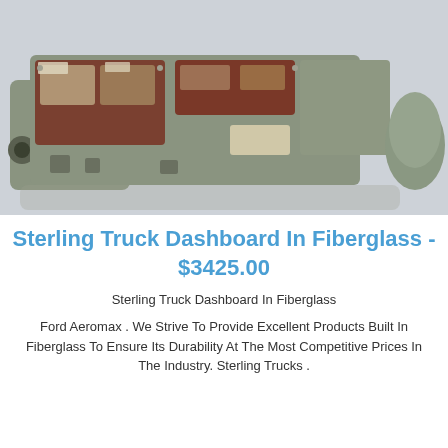[Figure (photo): Photograph of a Sterling Truck (Ford Aeromax) fiberglass dashboard assembly, showing the interior dashboard panel with wood-grain trim inserts, various mounting brackets, and a cylindrical end cap. The dashboard is shown from the front/top at an angle against a white background.]
Sterling Truck Dashboard In Fiberglass - $3425.00
Sterling Truck Dashboard In Fiberglass
Ford Aeromax . We Strive To Provide Excellent Products Built In Fiberglass To Ensure Its Durability At The Most Competitive Prices In The Industry. Sterling Trucks .